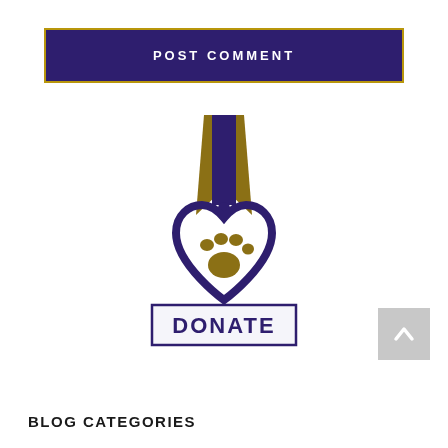POST COMMENT
[Figure (logo): A military-style medal with purple heart shape containing a gold paw print, attached to a ribbon in purple and gold. Below the medal is a banner reading DONATE in purple bold letters with a purple border.]
BLOG CATEGORIES